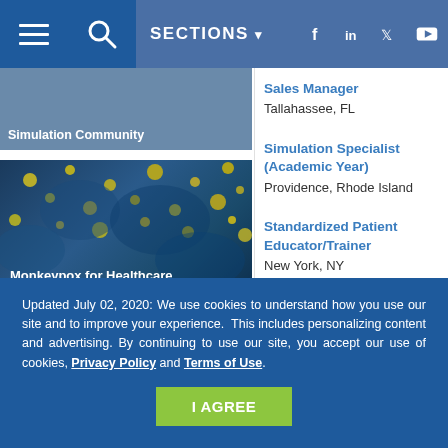SECTIONS
[Figure (screenshot): Website navigation bar with hamburger menu, search icon, SECTIONS dropdown, and social media icons (Facebook, LinkedIn, Twitter, YouTube)]
[Figure (photo): Article thumbnail with text 'Simulation Community']
[Figure (photo): Monkeypox microscope image with overlay text: Monkeypox for Healthcare Simulation: Moulage & Resources]
[Figure (photo): Healthcare simulation photo showing medical professionals]
Sales Manager
Tallahassee, FL
Simulation Specialist (Academic Year)
Providence, Rhode Island
Standardized Patient Educator/Trainer
New York, NY
Updated July 02, 2020: We use cookies to understand how you use our site and to improve your experience. This includes personalizing content and advertising. By continuing to use our site, you accept our use of cookies, Privacy Policy and Terms of Use.